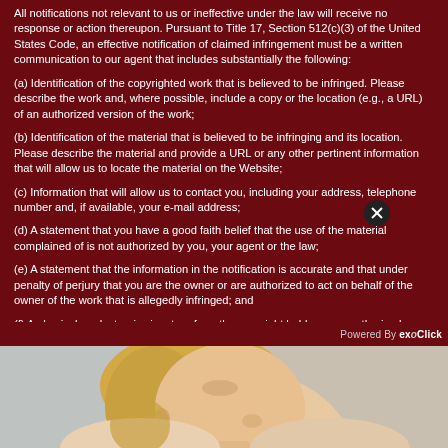All notifications not relevant to us or ineffective under the law will receive no response or action thereupon. Pursuant to Title 17, Section 512(c)(3) of the United States Code, an effective notification of claimed infringement must be a written communication to our agent that includes substantially the following:
(a) Identification of the copyrighted work that is believed to be infringed. Please describe the work and, where possible, include a copy or the location (e.g., a URL) of an authorized version of the work;
(b) Identification of the material that is believed to be infringing and its location. Please describe the material and provide a URL or any other pertinent information that will allow us to locate the material on the Website;
(c) Information that will allow us to contact you, including your address, telephone number and, if available, your e-mail address;
(d) A statement that you have a good faith belief that the use of the material complained of is not authorized by you, your agent or the law;
(e) A statement that the information in the notification is accurate and that under penalty of perjury that you are the owner or are authorized to act on behalf of the owner of the work that is allegedly infringed; and
(f) A physical or electronic signature from the copyright holder or an authorized representative.
Powered By exoClick
[Figure (photo): Portrait photo of a young blonde woman looking upward, cropped to show face and upper torso against a light background.]